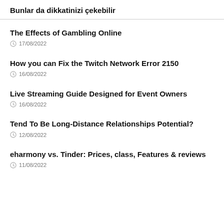Bunlar da dikkatinizi çekebilir
The Effects of Gambling Online
17/08/2022
How you can Fix the Twitch Network Error 2150
16/08/2022
Live Streaming Guide Designed for Event Owners
16/08/2022
Tend To Be Long-Distance Relationships Potential?
12/08/2022
eharmony vs. Tinder: Prices, class, Features & reviews
11/08/2022